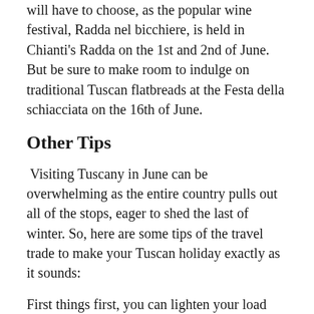will have to choose, as the popular wine festival, Radda nel bicchiere, is held in Chianti's Radda on the 1st and 2nd of June. But be sure to make room to indulge on traditional Tuscan flatbreads at the Festa della schiacciata on the 16th of June.
Other Tips
Visiting Tuscany in June can be overwhelming as the entire country pulls out all of the stops, eager to shed the last of winter. So, here are some tips of the travel trade to make your Tuscan holiday exactly as it sounds:
First things first, you can lighten your load and open up space for more souvenirs when you know exactly how to prepare for a trip to Tuscany in June. Essentially all you really need is light clothing that are easily